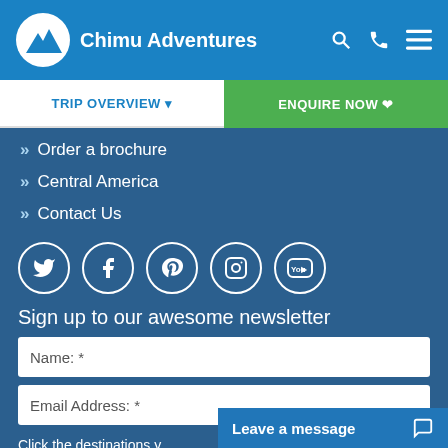Chimu Adventures
Order a brochure
Central America
Contact Us
[Figure (other): Social media icons: Twitter, Facebook, Pinterest, Instagram, YouTube]
Sign up to our awesome newsletter
Name: *
Email Address: *
Click the destinations y
Leave a message